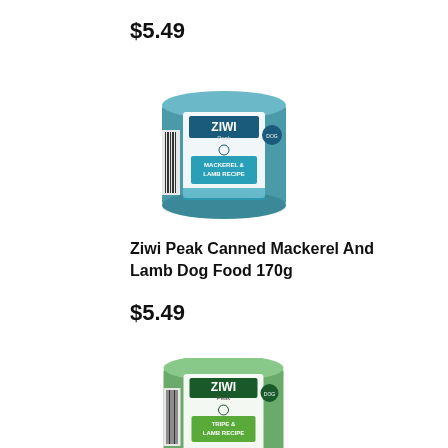$5.49
[Figure (photo): Ziwi Peak canned mackerel and lamb dog food 170g product can with teal/blue label]
Ziwi Peak Canned Mackerel And Lamb Dog Food 170g
$5.49
[Figure (photo): Ziwi Peak canned tripe and lamb dog food product can with green label, partially visible]